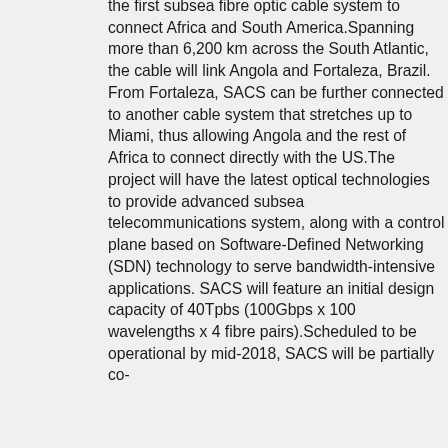the first subsea fibre optic cable system to connect Africa and South America.Spanning more than 6,200 km across the South Atlantic, the cable will link Angola and Fortaleza, Brazil. From Fortaleza, SACS can be further connected to another cable system that stretches up to Miami, thus allowing Angola and the rest of Africa to connect directly with the US.The project will have the latest optical technologies to provide advanced subsea telecommunications system, along with a control plane based on Software-Defined Networking (SDN) technology to serve bandwidth-intensive applications. SACS will feature an initial design capacity of 40Tpbs (100Gbps x 100 wavelengths x 4 fibre pairs).Scheduled to be operational by mid-2018, SACS will be partially co-